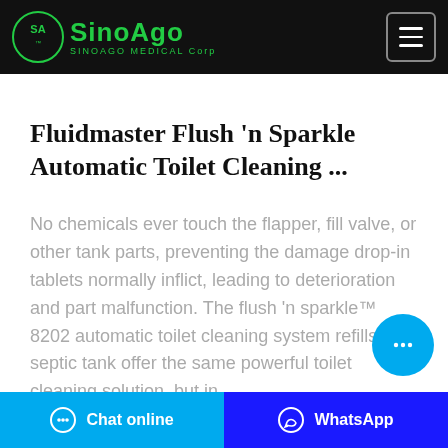SINOAGO MEDICAL Corp
Fluidmaster Flush 'n Sparkle Automatic Toilet Cleaning ...
No chemicals ever touch the flapper, fill valve, or other tank parts, preventing the damage drop-in tablets normally inflict, leading to deterioration and part malfunction. The flush 'n sparkle™ 8202 automatic toilet cleaning system refills, septic tank offer the same powerful toilet cleaning solution, but in
Chat online   WhatsApp